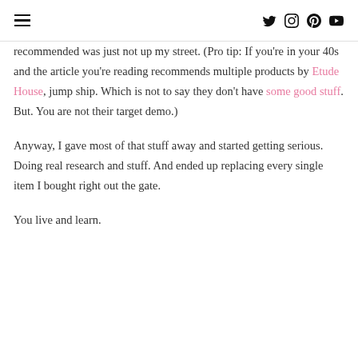[hamburger menu] [twitter] [instagram] [pinterest] [youtube]
recommended was just not up my street. (Pro tip: If you're in your 40s and the article you're reading recommends multiple products by Etude House, jump ship. Which is not to say they don't have some good stuff. But. You are not their target demo.)
Anyway, I gave most of that stuff away and started getting serious. Doing real research and stuff. And ended up replacing every single item I bought right out the gate.
You live and learn.